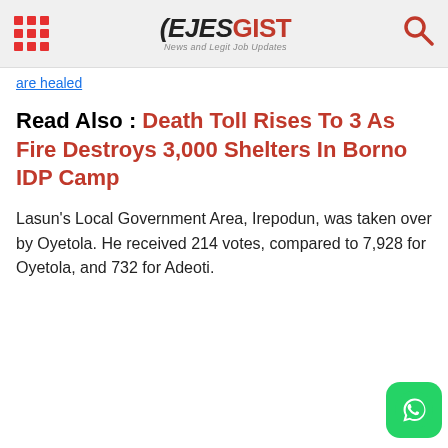EJESGIST News and Legit Job Updates
are healed
Read Also : Death Toll Rises To 3 As Fire Destroys 3,000 Shelters In Borno IDP Camp
Lasun's Local Government Area, Irepodun, was taken over by Oyetola. He received 214 votes, compared to 7,928 for Oyetola, and 732 for Adeoti.